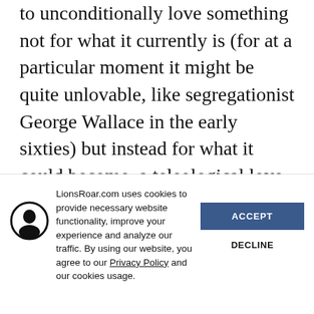to unconditionally love something not for what it currently is (for at a particular moment it might be quite unlovable, like segregationist George Wallace in the early sixties) but instead for what it could become, a teleological love that recognizes everything as process, not product, and sees beneath the surface to a thing's potential for positive change, the kind of love every mother has
LionsRoar.com uses cookies to provide necessary website functionality, improve your experience and analyze our traffic. By using our website, you agree to our Privacy Policy and our cookies usage.
[Figure (logo): Circular icon with a silhouette of a person/figure in black and white, outlined circle border]
ACCEPT
DECLINE